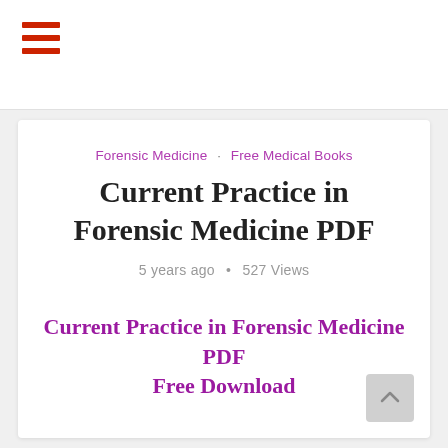≡ (hamburger menu icon)
Forensic Medicine · Free Medical Books
Current Practice in Forensic Medicine PDF
5 years ago • 527 Views
Current Practice in Forensic Medicine PDF Free Download